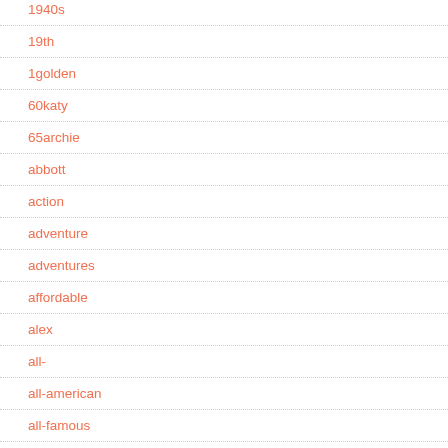1940s
19th
1golden
60katy
65archie
abbott
action
adventure
adventures
affordable
alex
all-
all-american
all-famous